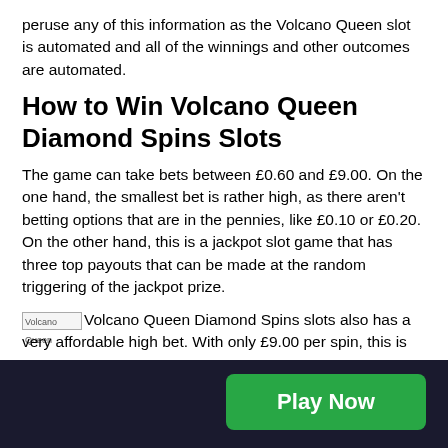peruse any of this information as the Volcano Queen slot is automated and all of the winnings and other outcomes are automated.
How to Win Volcano Queen Diamond Spins Slots
The game can take bets between £0.60 and £9.00. On the one hand, the smallest bet is rather high, as there aren't betting options that are in the pennies, like £0.10 or £0.20. On the other hand, this is a jackpot slot game that has three top payouts that can be made at the random triggering of the jackpot prize.
Volcano Queen Diamond Spins slots also has a very affordable high bet. With only £9.00 per spin, this is an
[Figure (other): Broken image placeholder for Volcano Queen image]
Play Now button in footer bar